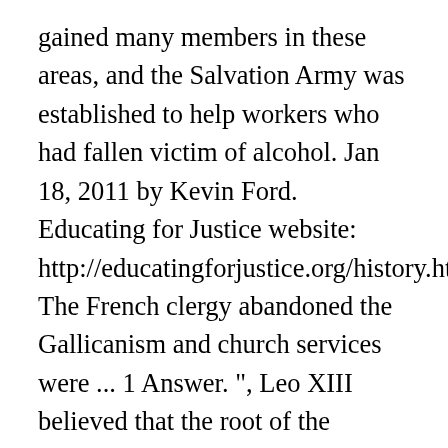gained many members in these areas, and the Salvation Army was established to help workers who had fallen victim of alcohol. Jan 18, 2011 by Kevin Ford. Educating for Justice website: http://educatingforjustice.org/history.htm. The French clergy abandoned the Gallicanism and church services were ... 1 Answer. ", Leo XIII believed that the root of the problem was the decline of the old trade guilds of medieval origin and the failure of modern government to pay attention to "traditional religious teaching." In addition, many of the French aristocracy and some corrupt monarchs had oppressed the common people for too long. Catholic priests and nuns were among those targeted by the